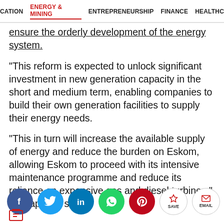CATION  ENERGY & MINING  ENTREPRENEURSHIP  FINANCE  HEALTHC
ensure the orderly development of the energy system.
"This reform is expected to unlock significant investment in new generation capacity in the short and medium term, enabling companies to build their own generation facilities to supply their energy needs.
"This in turn will increase the available supply of energy and reduce the burden on Eskom, allowing Eskom to proceed with its intensive maintenance programme and reduce its reliance on expensive gas and diesel turbines," Ramaphosa said.
[Figure (infographic): Social share bar with Facebook, Twitter, LinkedIn, WhatsApp, Pinterest buttons and Save, Email, Print action buttons plus a next arrow button]